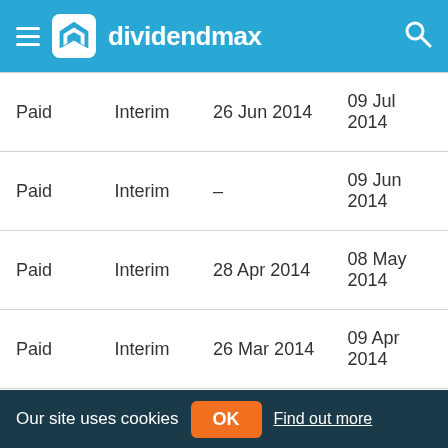dividendmax
| Status | Type | Date 1 | Date 2 |
| --- | --- | --- | --- |
| Paid | Interim | 26 Jun 2014 | 09 Jul 2014 |
| Paid | Interim | – | 09 Jun 2014 |
| Paid | Interim | 28 Apr 2014 | 08 May 2014 |
| Paid | Interim | 26 Mar 2014 | 09 Apr 2014 |
| Paid | Interim | 25 Feb 2014 | 07 Mar 2014 |
| Paid | Interim | 29 Jan 2014 | 07 Feb 2014 |
| Paid | Final | 26 Dec 2013 | 09 Jan 2014 |
Our site uses cookies  OK  Find out more